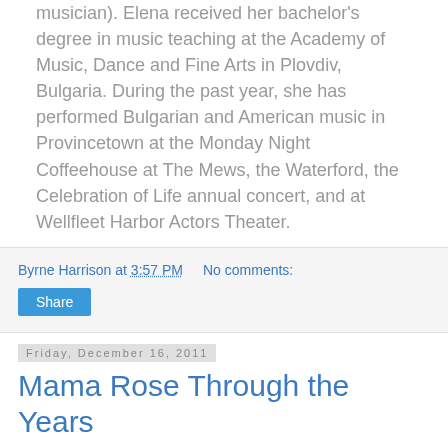musician). Elena received her bachelor's degree in music teaching at the Academy of Music, Dance and Fine Arts in Plovdiv, Bulgaria. During the past year, she has performed Bulgarian and American music in Provincetown at the Monday Night Coffeehouse at The Mews, the Waterford, the Celebration of Life annual concert, and at Wellfleet Harbor Actors Theater.
Byrne Harrison at 3:57 PM   No comments:
Share
Friday, December 16, 2011
Mama Rose Through the Years
[Figure (screenshot): YouTube video thumbnail showing a woman on stage with the title 'Gypsy - "Some People" through th...' and a channel icon on the left and three-dot menu on the right, dark stage curtain background with warm lighting on performer]